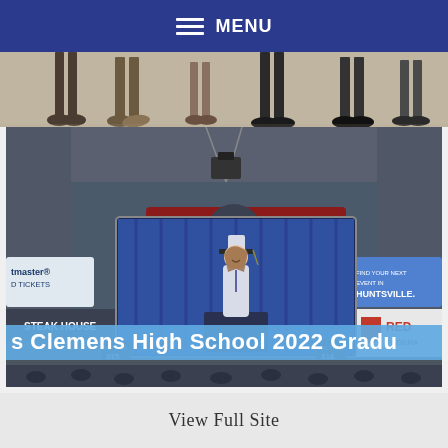MENU
[Figure (photo): Top portion of a photo showing legs and feet of people standing, cropped at waist level]
[Figure (photo): Arena/stadium interior showing a large screen displaying a graduating student in cap and gown speaking at a podium. Visible signage includes Coca-Cola, Ticketmaster (tmaster CD TICKETS), Steak House, Huntsville, Red (REDR FEDERA). Section numbers 315 and 316 visible. Bottom banner reads: 's Clemens High School 2022 Gradu']
View Full Site